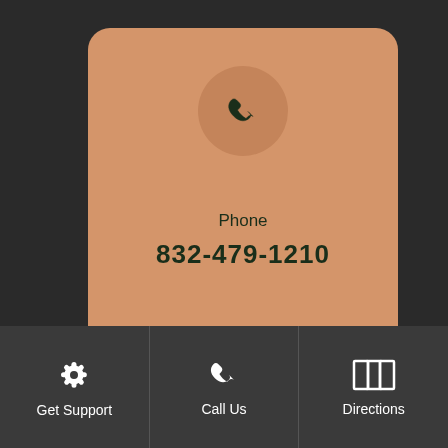[Figure (screenshot): Phone contact card UI showing phone icon in circle, label 'Phone', number '832-479-1210', and a compass/navigation icon section with 'Address' label below]
Phone
832-479-1210
Address
Get Support
Call Us
Directions